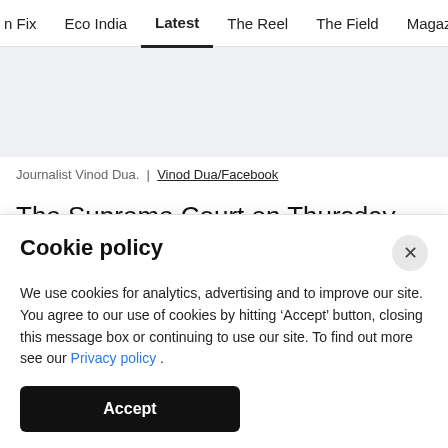n Fix   Eco India   Latest   The Reel   The Field   Magazine   Vi…
[Figure (photo): Gray banner/advertisement placeholder area]
Journalist Vinod Dua. | Vinod Dua/Facebook
The Supreme Court on Thursday quashed the first
Cookie policy
We use cookies for analytics, advertising and to improve our site. You agree to our use of cookies by hitting 'Accept' button, closing this message box or continuing to use our site. To find out more see our Privacy policy .
Accept